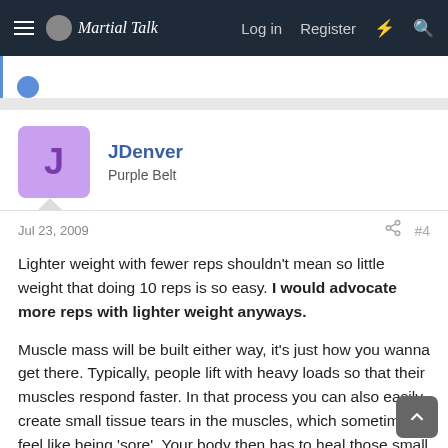Martial Talk — Log in  Register
JDenver
Purple Belt
Jul 23, 2009  #4
Lighter weight with fewer reps shouldn't mean so little weight that doing 10 reps is so easy. I would advocate more reps with lighter weight anyways.

Muscle mass will be built either way, it's just how you wanna get there. Typically, people lift with heavy loads so that their muscles respond faster. In that process you can also easily create small tissue tears in the muscles, which sometimes feel like being 'sore'. Your body then has to heal those small tears. You will be strong by doing more reps, it just requires more patience and time. Remember, there's also something to be